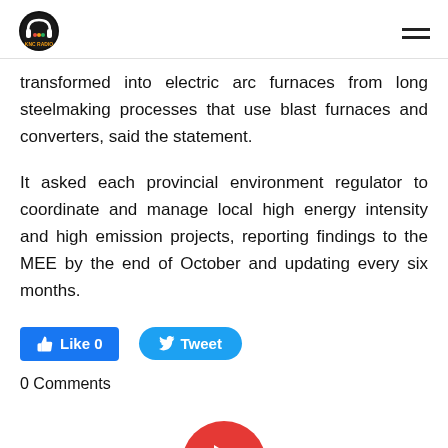KNC RADIO
transformed into electric arc furnaces from long steelmaking processes that use blast furnaces and converters, said the statement.
It asked each provincial environment regulator to coordinate and manage local high energy intensity and high emission projects, reporting findings to the MEE by the end of October and updating every six months.
[Figure (other): Social media buttons: Like 0 (Facebook blue) and Tweet (Twitter blue)]
0 Comments
[Figure (other): Red circular play button partially visible at bottom of page]